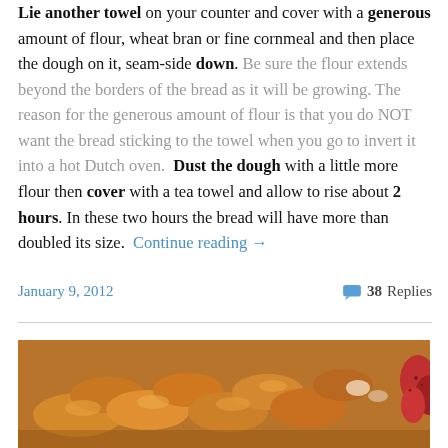Lie another towel on your counter and cover with a generous amount of flour, wheat bran or fine cornmeal and then place the dough on it, seam-side down. Be sure the flour extends beyond the borders of the bread as it will be growing. The reason for the generous amount of flour is that you do NOT want the bread sticking to the towel when you go to invert it into a hot Dutch oven.  Dust the dough with a little more flour then cover with a tea towel and allow to rise about 2 hours. In these two hours the bread will have more than doubled its size.  Continue reading →
January 9, 2012
38 Replies
[Figure (photo): Close-up photo of cooked or baked food items, appears to be pastries or dumplings with a glazed/caramelized topping and some red fruit visible at the right edge.]